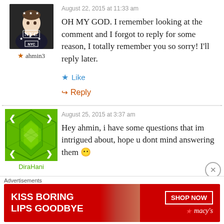August 22, 2015 at 11:33 am
OH MY GOD. I remember looking at the comment and I forgot to reply for some reason, I totally remember you so sorry! I'll reply later.
Like
Reply
August 25, 2015 at 3:37 am
Hey ahmin, i have some questions that im intrigued about, hope u dont mind answering them 😶
Advertisements
[Figure (illustration): Advertisement banner for Macy's: red background with woman's face, text KISS BORING LIPS GOODBYE and SHOP NOW button with Macy's logo]